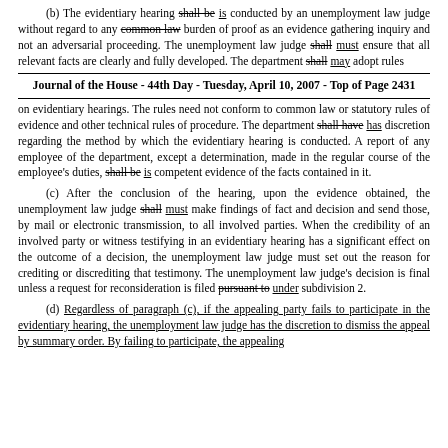(b) The evidentiary hearing shall be is conducted by an unemployment law judge without regard to any common law burden of proof as an evidence gathering inquiry and not an adversarial proceeding. The unemployment law judge shall must ensure that all relevant facts are clearly and fully developed. The department shall may adopt rules
Journal of the House - 44th Day - Tuesday, April 10, 2007 - Top of Page 2431
on evidentiary hearings. The rules need not conform to common law or statutory rules of evidence and other technical rules of procedure. The department shall have has discretion regarding the method by which the evidentiary hearing is conducted. A report of any employee of the department, except a determination, made in the regular course of the employee's duties, shall be is competent evidence of the facts contained in it.
(c) After the conclusion of the hearing, upon the evidence obtained, the unemployment law judge shall must make findings of fact and decision and send those, by mail or electronic transmission, to all involved parties. When the credibility of an involved party or witness testifying in an evidentiary hearing has a significant effect on the outcome of a decision, the unemployment law judge must set out the reason for crediting or discrediting that testimony. The unemployment law judge's decision is final unless a request for reconsideration is filed pursuant to under subdivision 2.
(d) Regardless of paragraph (c), if the appealing party fails to participate in the evidentiary hearing, the unemployment law judge has the discretion to dismiss the appeal by summary order. By failing to participate, the appealing